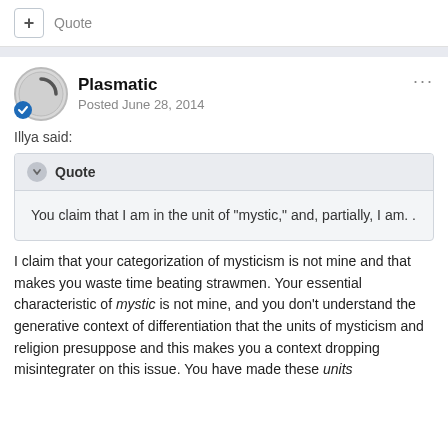+ Quote
Plasmatic
Posted June 28, 2014
Illya said:
Quote
You claim that I am in the unit of "mystic," and, partially, I am. .
I claim that your categorization of mysticism is not mine and that makes you waste time beating strawmen. Your essential characteristic of mystic is not mine, and you don't understand the generative context of differentiation that the units of mysticism and religion presuppose and this makes you a context dropping misintegrater on this issue. You have made these units